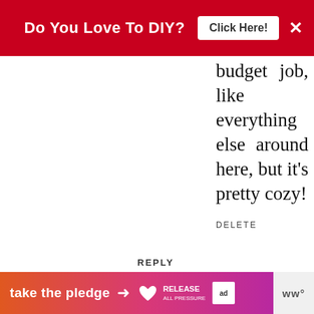[Figure (screenshot): Red banner advertisement asking 'Do You Love To DIY?' with a 'Click Here!' button and close X]
budget job, like everything else around here, but it's pretty cozy!
DELETE
REPLY
Homeroad
JULY 13, 2015 AT 3:46 PM
Yes!! I want lemonade!! That is a beautiful porch Kim enjoy your time out there :)
WHAT'S NEXT → A Fireplace Mantel...
REPLY DELETE
[Figure (screenshot): Bottom advertisement banner 'take the pledge' with orange-to-pink gradient, arrow, and logos]